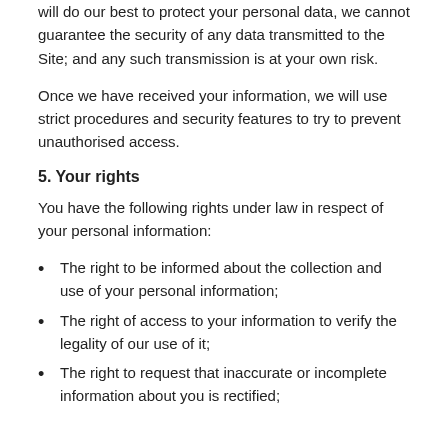will do our best to protect your personal data, we cannot guarantee the security of any data transmitted to the Site; and any such transmission is at your own risk.
Once we have received your information, we will use strict procedures and security features to try to prevent unauthorised access.
5. Your rights
You have the following rights under law in respect of your personal information:
The right to be informed about the collection and use of your personal information;
The right of access to your information to verify the legality of our use of it;
The right to request that inaccurate or incomplete information about you is rectified;